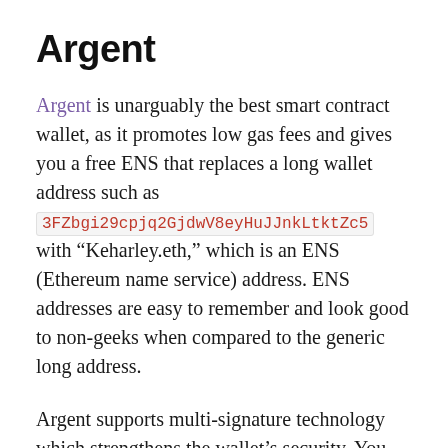Argent
Argent is unarguably the best smart contract wallet, as it promotes low gas fees and gives you a free ENS that replaces a long wallet address such as 3FZbgi29cpjq2GjdwV8eyHuJJnkLtktZc5 with “Keharley.eth,” which is an ENS (Ethereum name service) address. ENS addresses are easy to remember and look good to non-geeks when compared to the generic long address.
Argent supports multi-signature technology which strengthens the wallet’s security. You